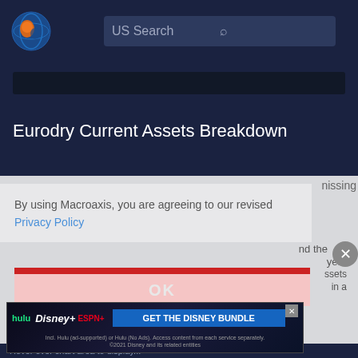[Figure (logo): Macroaxis logo: orange and blue circular globe icon]
US Search
Eurodry Current Assets Breakdown
By using Macroaxis, you are agreeing to our revised Privacy Policy
[Figure (screenshot): Disney Bundle advertisement: hulu Disney+ ESPN+ GET THE DISNEY BUNDLE. Incl. Hulu (ad-supported) or Hulu (No Ads). Access content from each service separately. ©2021 Disney and its related entities]
Hover over chart area to display missing data. Hover over the data points and the chart will highlight the corresponding year over year change in current assets. Analyze year over year change in current assets